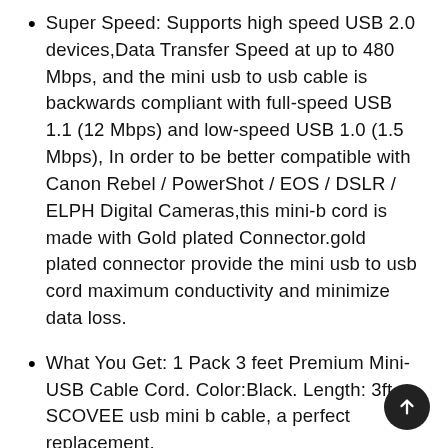Super Speed: Supports high speed USB 2.0 devices,Data Transfer Speed at up to 480 Mbps, and the mini usb to usb cable is backwards compliant with full-speed USB 1.1 (12 Mbps) and low-speed USB 1.0 (1.5 Mbps), In order to be better compatible with Canon Rebel / PowerShot / EOS / DSLR / ELPH Digital Cameras,this mini-b cord is made with Gold plated Connector.gold plated connector provide the mini usb to usb cord maximum conductivity and minimize data loss.
What You Get: 1 Pack 3 feet Premium Mini-USB Cable Cord. Color:Black. Length: 3ft SCOVEE usb mini b cable, a perfect replacement.